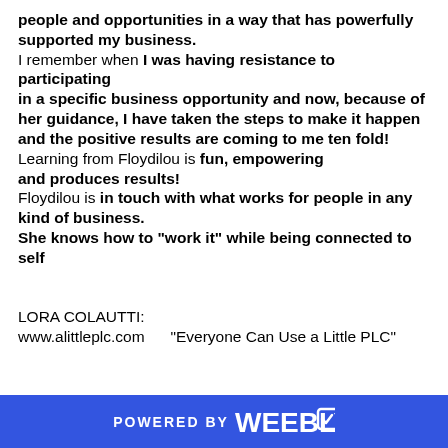people and opportunities in a way that has powerfully supported my business. I remember when I was having resistance to participating in a specific business opportunity and now, because of her guidance, I have taken the steps to make it happen and the positive results are coming to me ten fold!  Learning from Floydilou is fun, empowering and produces results! Floydilou is in touch with what works for people in any kind of business. She knows how to "work it" while being connected to self

LORA COLAUTTI:
www.alittleplc.com     "Everyone Can Use a Little PLC"
POWERED BY weebly